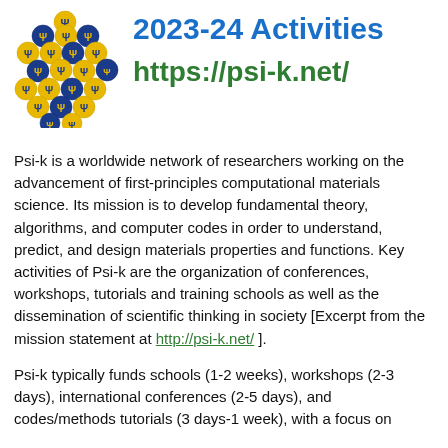[Figure (logo): Psi-k logo: cluster of gold and blue spheres with Greek letter Psi symbols]
2023-24 Activities
https://psi-k.net/
Psi-k is a worldwide network of researchers working on the advancement of first-principles computational materials science. Its mission is to develop fundamental theory, algorithms, and computer codes in order to understand, predict, and design materials properties and functions. Key activities of Psi-k are the organization of conferences, workshops, tutorials and training schools as well as the dissemination of scientific thinking in society [Excerpt from the mission statement at http://psi-k.net/ ].
Psi-k typically funds schools (1-2 weeks), workshops (2-3 days), international conferences (2-5 days), and codes/methods tutorials (3 days-1 week), with a focus on